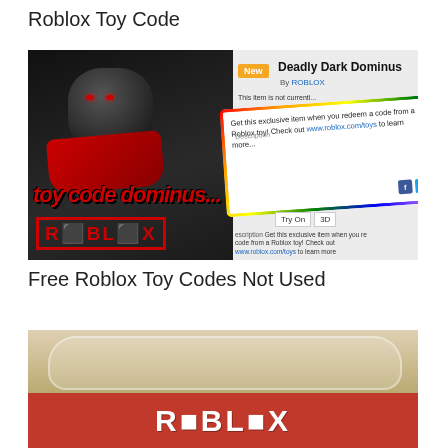Roblox Toy Code
[Figure (screenshot): Screenshot of Roblox website showing Deadly Dark Dominus item page with 'toy code dominus...' overlay text and ROBLOX logo, along with a rainbow-bordered tooltip card explaining how to redeem a code from a Roblox toy at www.roblox.com/toys]
Free Roblox Toy Codes Not Used
[Figure (photo): Photo of Roblox toy packaging in clear plastic blister pack showing ROBLOX logo in white text on red background]